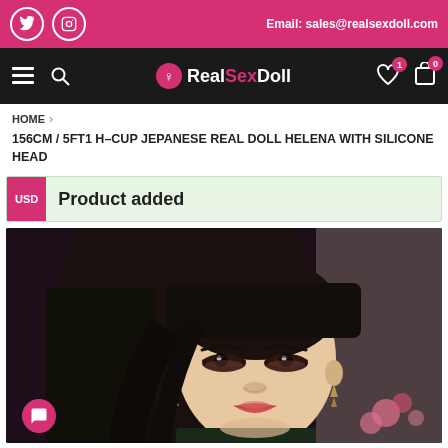Email: sales@realsexdoll.com
RealSexDoll
HOME > 156CM / 5FT1 H-CUP JEPANESE REAL DOLL HELENA WITH SILICONE HEAD
USD  Product added
[Figure (photo): Portrait photo of a realistic doll with East Asian features, long straight black hair, wearing earrings, dark background with pink/purple bokeh light]